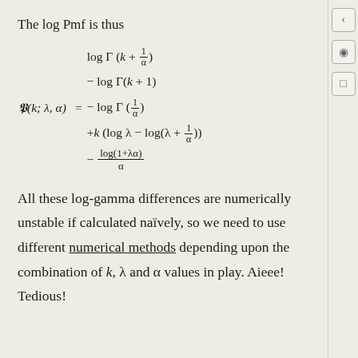The log Pmf is thus
All these log-gamma differences are numerically unstable if calculated naïvely, so we need to use different numerical methods depending upon the combination of k, λ and α values in play. Aieee! Tedious!